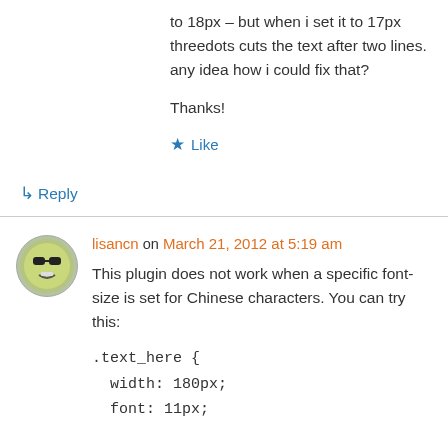to 18px – but when i set it to 17px threedots cuts the text after two lines. any idea how i could fix that?
Thanks!
★ Like
↳ Reply
lisancn on March 21, 2012 at 5:19 am
This plugin does not work when a specific font-size is set for Chinese characters. You can try this:
.text_here {
width: 180px;
font: 11px;